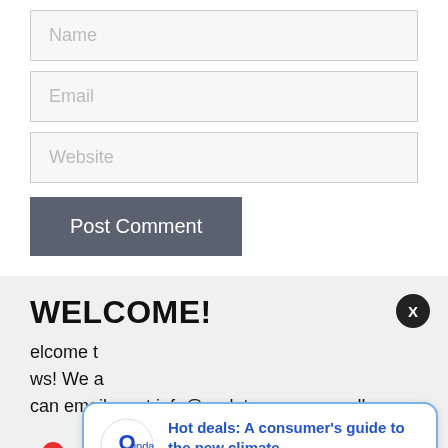Name
Email
Website
Post Comment
WELCOME!
Welcome t... ws! We a... can email us at info@updatem.com or call
[Figure (screenshot): Notification popup with Updatem logo, headline 'Hot deals: A consumer's guide to the new climate', timestamp '9 hours ago', close button X, and bell icon with badge count 3]